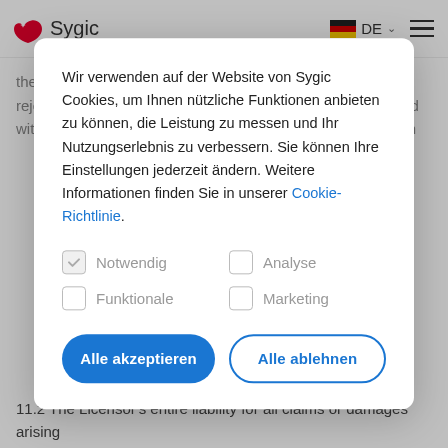Sygic | DE
the parts of the acceptance tests that form the basis for the rejection. In the event that such written notice is not provided within seven (7) days following delivery of the Customization
Wir verwenden auf der Website von Sygic Cookies, um Ihnen nützliche Funktionen anbieten zu können, die Leistung zu messen und Ihr Nutzungserlebnis zu verbessern. Sie können Ihre Einstellungen jederzeit ändern. Weitere Informationen finden Sie in unserer Cookie-Richtlinie.
Notwendig | Analyse | Funktionale | Marketing
Alle akzeptieren | Alle ablehnen
11.2 The Licensor's entire liability for all claims or damages arising